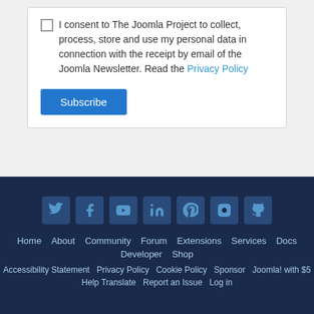I consent to The Joomla Project to collect, process, store and use my personal data in connection with the receipt by email of the Joomla Newsletter. Read the Privacy Policy
Subscribe
[Figure (other): Social media icons row: Twitter, Facebook, YouTube, LinkedIn, Pinterest, Instagram, GitHub]
Home  About  Community  Forum  Extensions  Services  Docs  Developer  Shop  Accessibility Statement  Privacy Policy  Cookie Policy  Sponsor Joomla! with $5  Help Translate  Report an Issue  Log in